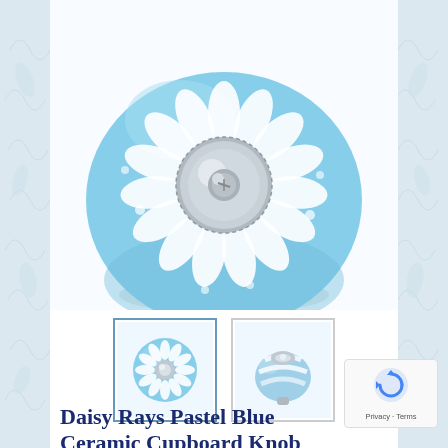[Figure (photo): Close-up photo of a pastel blue ceramic door/drawer knob with white daisy petal pattern radiating from a silver chrome center fitting. The knob is round and bulbous with white teardrop/petal shapes on a sky-blue glazed ceramic body.]
[Figure (photo): Small thumbnail image showing the same pastel blue daisy rays ceramic knob from the front/top view, selected (highlighted border).]
[Figure (photo): Small thumbnail image showing the pastel blue daisy rays ceramic knob from a slightly angled side view, showing the silver fitting.]
Daisy Rays Pastel Blue Ceramic Cupboard Knob